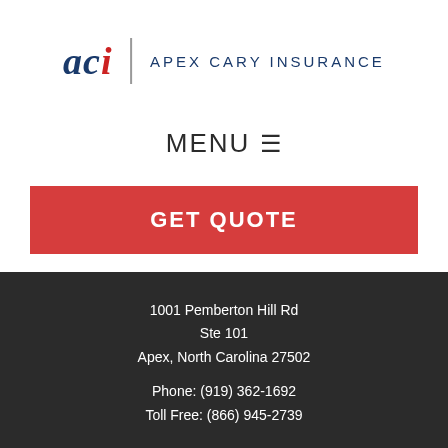[Figure (logo): ACI - Apex Cary Insurance logo with italic ACI text in navy and red, vertical divider, and APEX CARY INSURANCE text in navy]
MENU ≡
GET QUOTE
1001 Pemberton Hill Rd
Ste 101
Apex, North Carolina 27502
Phone: (919) 362-1692
Toll Free: (866) 945-2739